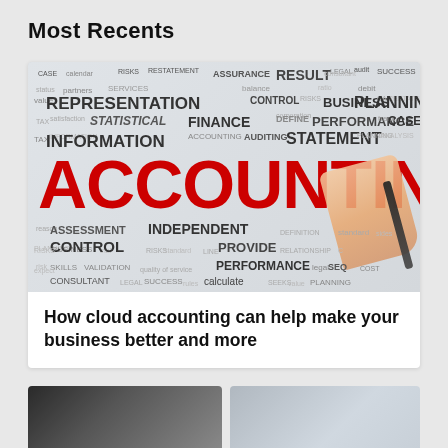Most Recents
[Figure (photo): Word cloud image centered on the large red word ACCOUNTING in bold handwritten style, with a hand holding a marker pen writing it. Background words include: RESULT, REPRESENTATION, STATISTICAL, INFORMATION, FINANCE, AUDITING, STATEMENT, PLANNING, BUSINESS, CONTROL, PERFORMANCE, CASE, ASSESSMENT, INDEPENDENT, PROVIDE, SKILLS, VALIDATION, CONSULTANT, CALCULATE, SUCCESS, RISKS, ASSURANCE, LEGAL, and many more accounting-related terms in various sizes and gray tones.]
How cloud accounting can help make your business better and more
[Figure (photo): Partial view of a second article image at the bottom of the page, showing a dark office/building scene on the left and a light architectural image on the right.]